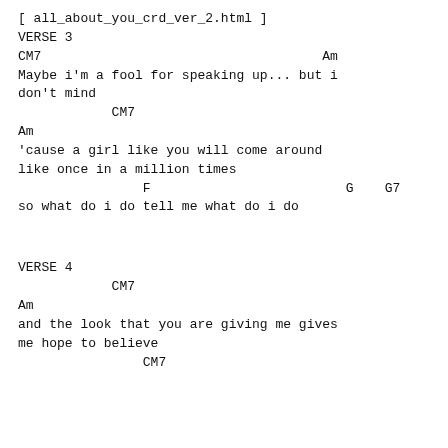[ all_about_you_crd_ver_2.html ]
VERSE 3
CM7                                    Am
Maybe i'm a fool for speaking up... but i
don't mind
CM7
Am
'cause a girl like you will come around
like once in a million times
F                         G    G7
so what do i do tell me what do i do
VERSE 4
CM7
Am
and the look that you are giving me gives
me hope to believe
CM7